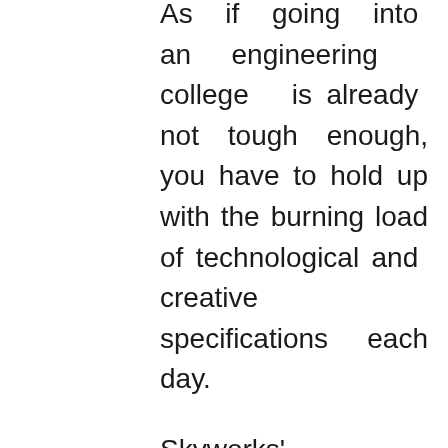As if going into an engineering college is already not tough enough, you have to hold up with the burning load of technological and creative specifications each day.
Skyworks' automotive options are enabling new convenience and safety features in almost everything from remote keyless entry, to collision